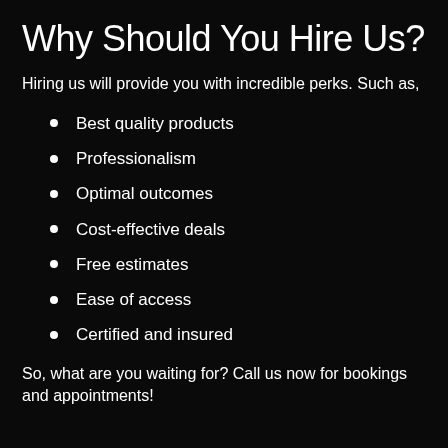Why Should You Hire Us?
Hiring us will provide you with incredible perks. Such as,
Best quality products
Professionalism
Optimal outcomes
Cost-effective deals
Free estimates
Ease of access
Certified and insured
So, what are you waiting for? Call us now for bookings and appointments!